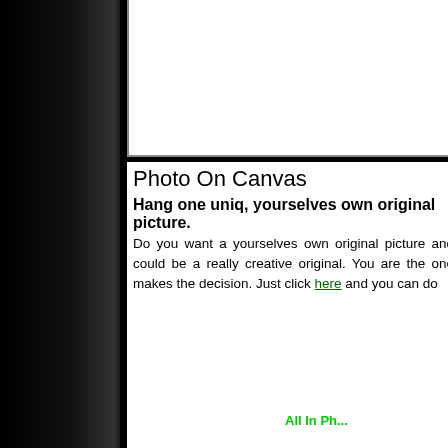[Figure (screenshot): Screenshot of a webpage about Photo On Canvas service, showing white content panel on dark browser frame background. A small thumbnail image is visible in the bottom-right corner showing a grayscale circular/spherical object with a green border.]
Photo On Canvas
Hang one uniq, yourselves own original picture.
Do you want a yourselves own original picture and could be a really creative original. You are the one makes the decision. Just click here and you can do